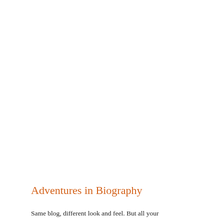Adventures in Biography
Same blog, different look and feel. But all your